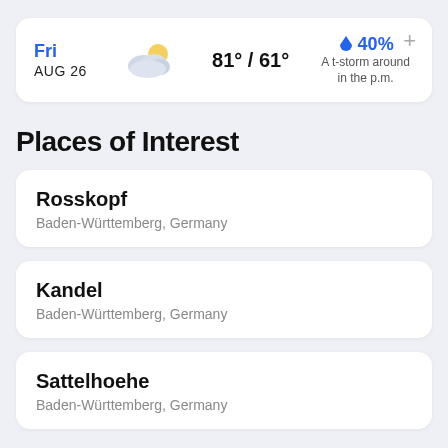Fri AUG 26 | 81° / 61° | 40% A t-storm around in the p.m.
Places of Interest
Rosskopf
Baden-Württemberg, Germany
Kandel
Baden-Württemberg, Germany
Sattelhoehe
Baden-Württemberg, Germany